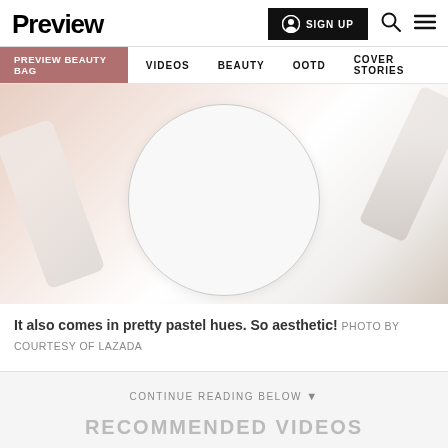Preview | SIGN UP | Search | Menu
PREVIEW BEAUTY BAG | VIDEOS | BEAUTY | OOTD | COVER STORIES
[Figure (photo): Close-up photo of a white circular cosmetic compact (likely a powder or mirror compact) on a peach/beige background with cosmetic pencils or tubes around it, suggesting pastel beauty products.]
It also comes in pretty pastel hues. So aesthetic! PHOTO BY COURTESY OF LAZADA
CONTINUE READING BELOW ▼
RECOMMENDED VIDEOS